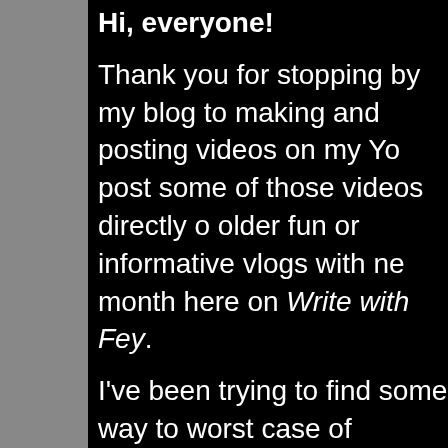Hi, everyone!
Thank you for stopping by my blog to making and posting videos on my Yo post some of those videos directly o older fun or informative vlogs with ne month here on Write with Fey.
I've been trying to find some way to worst case of depression a couple o Then BAM! I got this idea (moments me. I do really enjoy creating my Yo at least, a step.